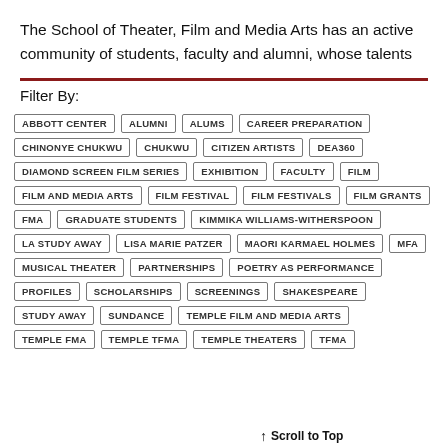The School of Theater, Film and Media Arts has an active community of students, faculty and alumni, whose talents
Filter By:
ABBOTT CENTER
ALUMNI
ALUMS
CAREER PREPARATION
CHINONYE CHUKWU
CHUKWU
CITIZEN ARTISTS
DEA360
DIAMOND SCREEN FILM SERIES
EXHIBITION
FACULTY
FILM
FILM AND MEDIA ARTS
FILM FESTIVAL
FILM FESTIVALS
FILM GRANTS
FMA
GRADUATE STUDENTS
KIMMIKA WILLIAMS-WITHERSPOON
LA STUDY AWAY
LISA MARIE PATZER
MAORI KARMAEL HOLMES
MFA
MUSICAL THEATER
PARTNERSHIPS
POETRY AS PERFORMANCE
PROFILES
SCHOLARSHIPS
SCREENINGS
SHAKESPEARE
STUDY AWAY
SUNDANCE
TEMPLE FILM AND MEDIA ARTS
TEMPLE FMA
TEMPLE TFMA
TEMPLE THEATERS
TFMA